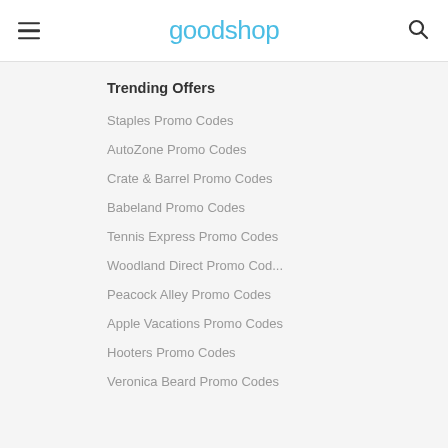goodshop
Trending Offers
Staples Promo Codes
AutoZone Promo Codes
Crate & Barrel Promo Codes
Babeland Promo Codes
Tennis Express Promo Codes
Woodland Direct Promo Cod...
Peacock Alley Promo Codes
Apple Vacations Promo Codes
Hooters Promo Codes
Veronica Beard Promo Codes